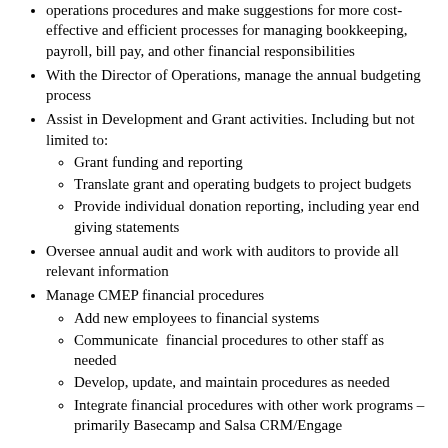operations procedures and make suggestions for more cost-effective and efficient processes for managing bookkeeping, payroll, bill pay, and other financial responsibilities
With the Director of Operations, manage the annual budgeting process
Assist in Development and Grant activities. Including but not limited to:
Grant funding and reporting
Translate grant and operating budgets to project budgets
Provide individual donation reporting, including year end giving statements
Oversee annual audit and work with auditors to provide all relevant information
Manage CMEP financial procedures
Add new employees to financial systems
Communicate  financial procedures to other staff as needed
Develop, update, and maintain procedures as needed
Integrate financial procedures with other work programs – primarily Basecamp and Salsa CRM/Engage